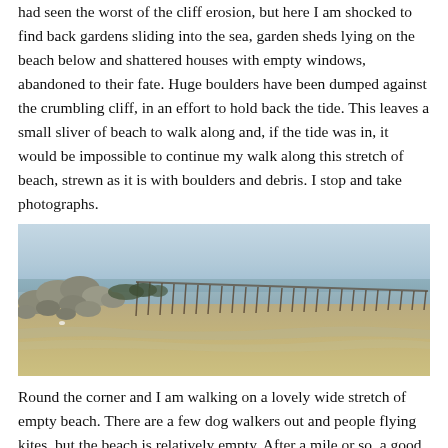had seen the worst of the cliff erosion, but here I am shocked to find back gardens sliding into the sea, garden sheds lying on the beach below and shattered houses with empty windows, abandoned to their fate. Huge boulders have been dumped against the crumbling cliff, in an effort to hold back the tide. This leaves a small sliver of beach to walk along and, if the tide was in, it would be impossible to continue my walk along this stretch of beach, strewn as it is with boulders and debris. I stop and take photographs.
[Figure (photo): A wide panoramic photograph of a beach scene showing large boulders piled against a cliff or sea defence on the left, old wooden pier or groyne posts stretching out into calm sea in the middle and right, with sandy beach in the foreground and a pale blue sky above.]
Round the corner and I am walking on a lovely wide stretch of empty beach. There are a few dog walkers out and people flying kites, but the beach is relatively empty. After a mile or so, a good solid concrete sea defence wall